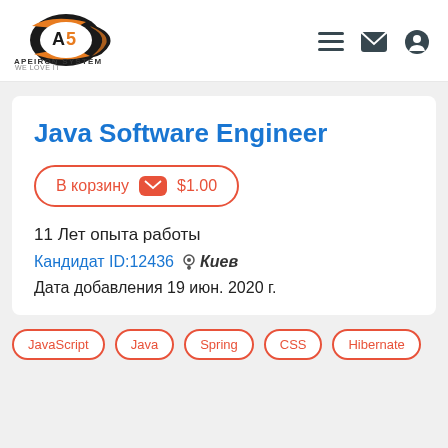[Figure (logo): Apeiron System logo with orange/black swoosh graphic and text 'APEIRON SYSTEM' and 'WE LOVE IT']
Java Software Engineer
В корзину $1.00
11 Лет опыта работы
Кандидат ID:12436  Киев
Дата добавления 19 июн. 2020 г.
JavaScript
Java
Spring
CSS
Hibernate